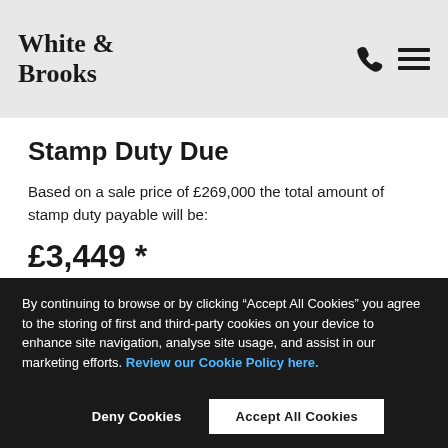White & Brooks
Stamp Duty Due
Based on a sale price of £269,000 the total amount of stamp duty payable will be:
£3,449 *
Last updated: The calculator has been updated following the end of the stamp duty holiday on 1st October 2021.
By continuing to browse or by clicking “Accept All Cookies” you agree to the storing of first and third-party cookies on your device to enhance site navigation, analyse site usage, and assist in our marketing efforts. Review our Cookie Policy here.
Deny Cookies
Accept All Cookies